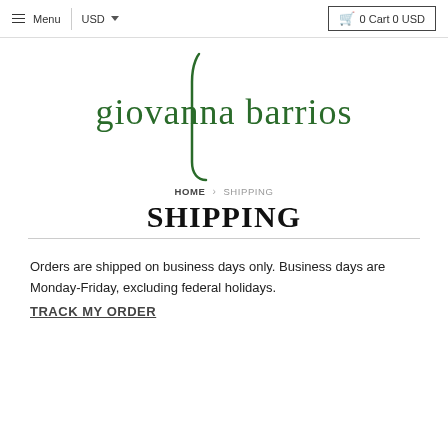☰ Menu | USD ▼  🛒 0 Cart 0 USD
[Figure (logo): giovanna barrios logo in dark green serif font with decorative swash]
HOME › SHIPPING
SHIPPING
Orders are shipped on business days only. Business days are Monday-Friday, excluding federal holidays.
TRACK MY ORDER